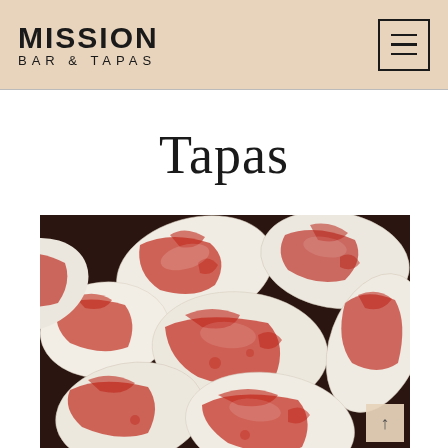MISSION BAR & TAPAS
Tapas
[Figure (photo): Close-up photo of red and white speckled borlotti beans or similar legumes piled together, with distinctive red-on-cream mottled pattern]